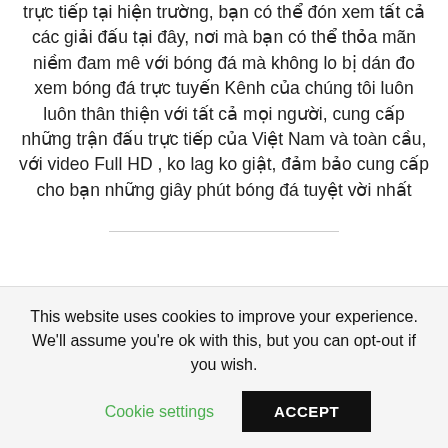trực tiếp tại hiện trường, bạn có thể đón xem tất cả các giải đấu tại đây, nơi mà bạn có thể thỏa mãn niềm đam mê với bóng đá mà không lo bị dán đo xem bóng đá trực tuyến Kênh của chúng tôi luôn luôn thân thiện với tất cả mọi người, cung cấp những trận đấu trực tiếp của Việt Nam và toàn cầu, với video Full HD , ko lag ko giật, đảm bảo cung cấp cho bạn những giây phút bóng đá tuyệt vời nhất
This website uses cookies to improve your experience. We'll assume you're ok with this, but you can opt-out if you wish.
Cookie settings
ACCEPT